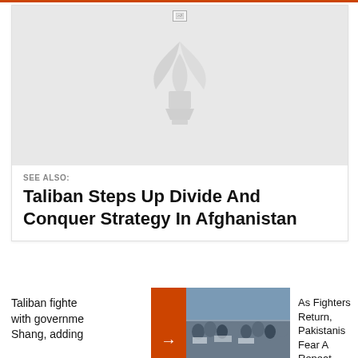[Figure (other): Placeholder image with watermark logo (gray leaf/torch icon) on light gray background]
SEE ALSO:
Taliban Steps Up Divide And Conquer Strategy In Afghanistan
Taliban fighte... with governme... Shang, adding...
[Figure (photo): Crowd of people at a rally or gathering, outdoor scene]
As Fighters Return, Pakistanis Fear A Repeat Of Taliban Carnage